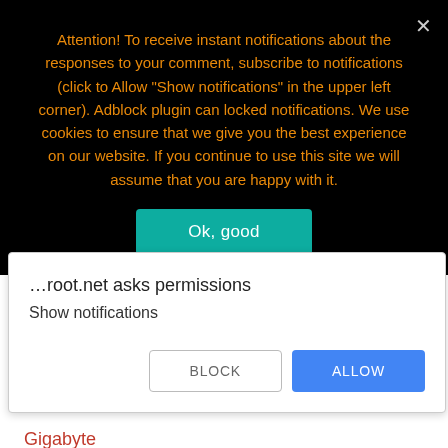Attention! To receive instant notifications about the responses to your comment, subscribe to notifications (click to Allow "Show notifications" in the upper left corner). Adblock plugin can locked notifications. We use cookies to ensure that we give you the best experience on our website. If you continue to use this site we will assume that you are happy with it.
Ok, good
Geeksphone
General Mobile
Geotel
Gigabyte
…root.net asks permissions
Show notifications
BLOCK
ALLOW